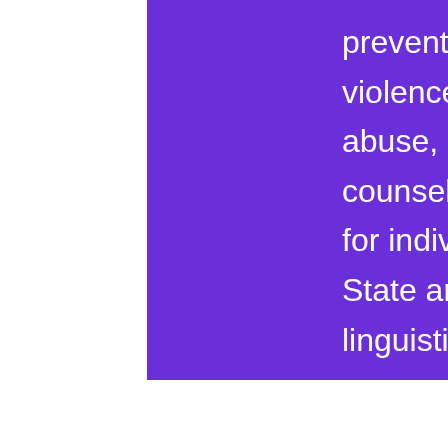preventing and ending gender-based domestic violence, sexual assault, and relationship abuse, and creating a violence-free society. Our counseling, education and advocacy programs for individuals and families in the New York Tri-State area are provided in a culturally and linguistically appropriate setting.
Our Mission & Vision